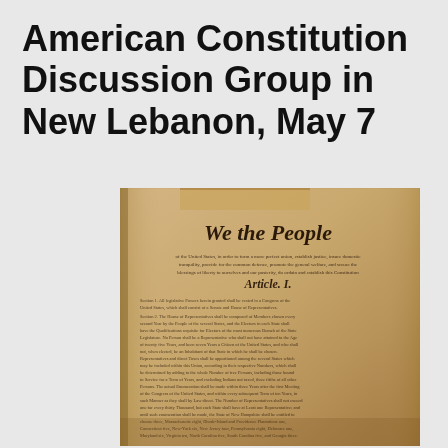American Constitution Discussion Group in New Lebanon, May 7
[Figure (photo): Photograph of the United States Constitution document, showing the famous 'We the People' preamble at the top in ornate calligraphy, followed by Article I text in cursive handwriting on aged parchment paper.]